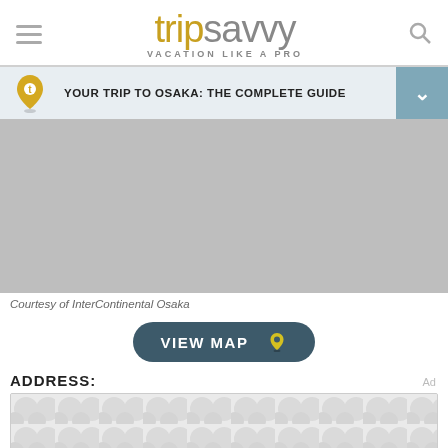tripsavvy VACATION LIKE A PRO
YOUR TRIP TO OSAKA: THE COMPLETE GUIDE
[Figure (photo): Grey placeholder image of a hotel (InterContinental Osaka)]
Courtesy of InterContinental Osaka
VIEW MAP
ADDRESS:
[Figure (other): Advertisement banner strip with circular dot pattern in grey/white]